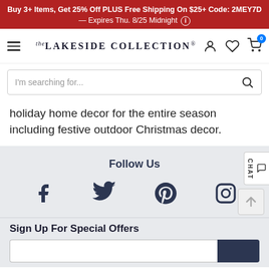Buy 3+ Items, Get 25% Off PLUS Free Shipping On $25+ Code: 2MEY7D — Expires Thu. 8/25 Midnight
[Figure (screenshot): Lakeside Collection website navigation bar with hamburger menu, logo, user/wishlist/cart icons]
[Figure (screenshot): Search bar with placeholder text 'I'm searching for...' and magnifying glass icon]
holiday home decor for the entire season including festive outdoor Christmas decor.
Follow Us
[Figure (screenshot): Social media icons: Facebook, Twitter, Pinterest, Instagram]
Sign Up For Special Offers